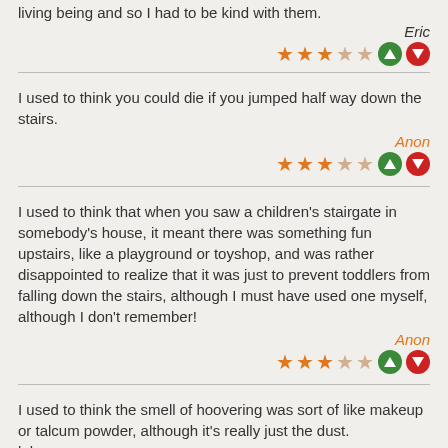living being and so I had to be kind with them.
Eric
★★★☆☆
I used to think you could die if you jumped half way down the stairs.
Anon
★★★☆☆
I used to think that when you saw a children's stairgate in somebody's house, it meant there was something fun upstairs, like a playground or toyshop, and was rather disappointed to realize that it was just to prevent toddlers from falling down the stairs, although I must have used one myself, although I don't remember!
Anon
★★★☆☆
I used to think the smell of hoovering was sort of like makeup or talcum powder, although it's really just the dust.
lol
Natasha
★★☆☆☆